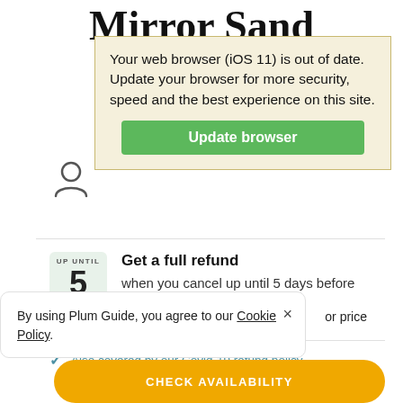Mirror Sand
Your web browser (iOS 11) is out of date.
Update your browser for more security, speed and the best experience on this site.
Update browser
[Figure (illustration): Person icon outline]
Get a full refund when you cancel up until 5 days before check-in
Also covered by our Covid-19 refund policy
By using Plum Guide, you agree to our Cookie Policy.
or price
CHECK AVAILABILITY